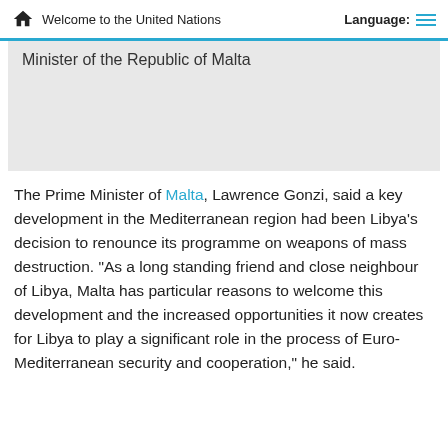Welcome to the United Nations  Language:
[Figure (photo): Photo placeholder showing 'Minister of the Republic of Malta']
The Prime Minister of Malta, Lawrence Gonzi, said a key development in the Mediterranean region had been Libya's decision to renounce its programme on weapons of mass destruction. "As a long standing friend and close neighbour of Libya, Malta has particular reasons to welcome this development and the increased opportunities it now creates for Libya to play a significant role in the process of Euro-Mediterranean security and cooperation," he said.